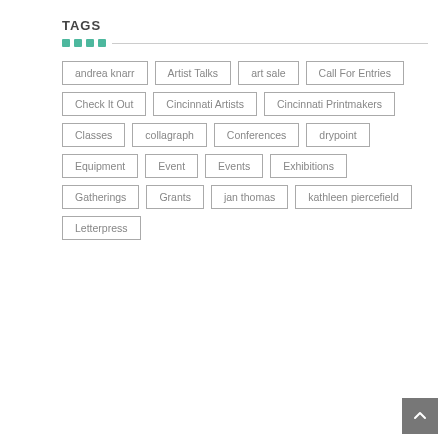TAGS
andrea knarr
Artist Talks
art sale
Call For Entries
Check It Out
Cincinnati Artists
Cincinnati Printmakers
Classes
collagraph
Conferences
drypoint
Equipment
Event
Events
Exhibitions
Gatherings
Grants
jan thomas
kathleen piercefield
Letterpress